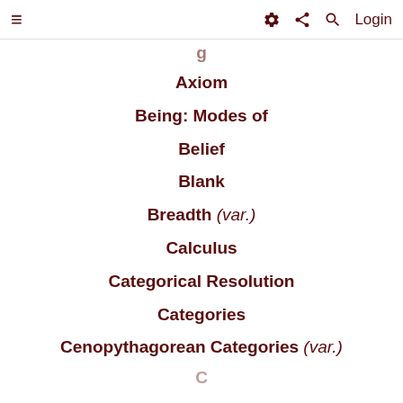☰  ⚙ ⋮ 🔍 Login
Axiom
Being: Modes of
Belief
Blank
Breadth (var.)
Calculus
Categorical Resolution
Categories
Cenopythagorean Categories (var.)